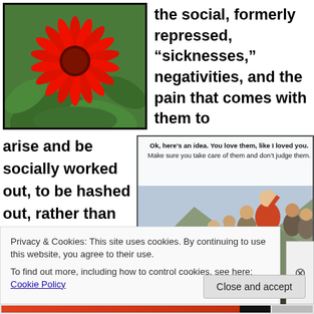[Figure (photo): Red gerbera daisy flower with green leaves background]
the social, formerly repressed, “sicknesses,” negativities, and the pain that comes with them to
arise and be socially worked out, to be hashed out, rather than to escape them by
[Figure (illustration): Internet meme showing Jesus speaking to a crowd. Text at top: 'Ok, here’s an idea. You love them, like I loved you. Make sure you take care of them and don’t judge them.' Text in pink: 'But what if they’re gay or worship other Gods?' Text at bottom: 'Did I fucking stutter?']
Privacy & Cookies: This site uses cookies. By continuing to use this website, you agree to their use.
To find out more, including how to control cookies, see here: Cookie Policy
Close and accept